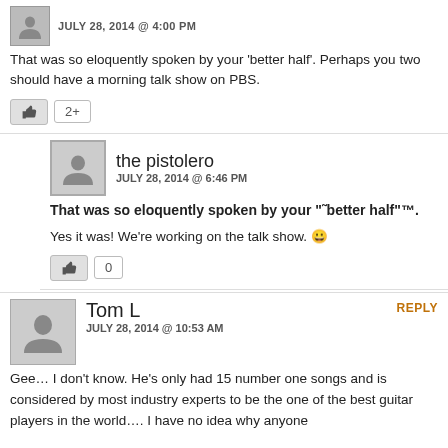JULY 28, 2014 @ 4:00 PM
That was so eloquently spoken by your ‘better half’. Perhaps you two should have a morning talk show on PBS.
2+
the pistolero
JULY 28, 2014 @ 6:46 PM
That was so eloquently spoken by your “˛better half”™.
Yes it was! We’re working on the talk show. 😀
0
Tom L
JULY 28, 2014 @ 10:53 AM
Gee… I don’t know. He’s only had 15 number one songs and is considered by most industry experts to be the one of the best guitar players in the world…. I have no idea why anyone